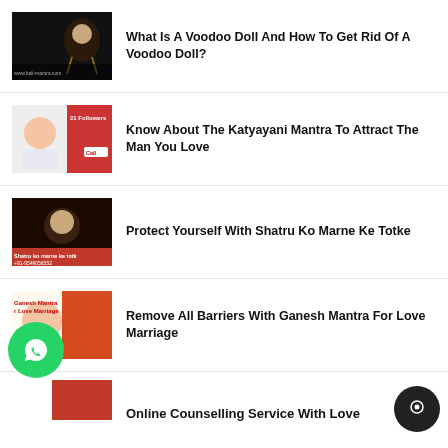What Is A Voodoo Doll And How To Get Rid Of A Voodoo Doll?
Know About The Katyayani Mantra To Attract The Man You Love
Protect Yourself With Shatru Ko Marne Ke Totke
Remove All Barriers With Ganesh Mantra For Love Marriage
Online Counselling Service With Love